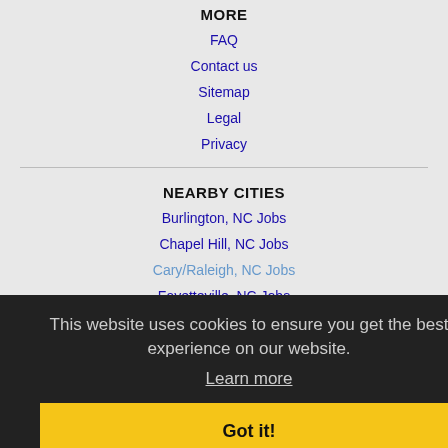MORE
FAQ
Contact us
Sitemap
Legal
Privacy
NEARBY CITIES
Burlington, NC Jobs
Chapel Hill, NC Jobs
Cary/Raleigh, NC Jobs
Fayetteville, NC Jobs
Greensboro, NC Jobs
Greenville, NC Jobs
High Point, NC Jobs
Raleigh, NC Jobs
Rocky Mount, NC Jobs
This website uses cookies to ensure you get the best experience on our website. Learn more Got it!